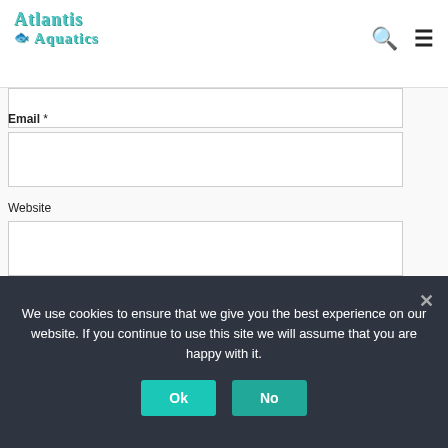Atlantis Aquatics
Email *
Website
Save my name, email, and website in this browser for the next time I comment.
We use cookies to ensure that we give you the best experience on our website. If you continue to use this site we will assume that you are happy with it.